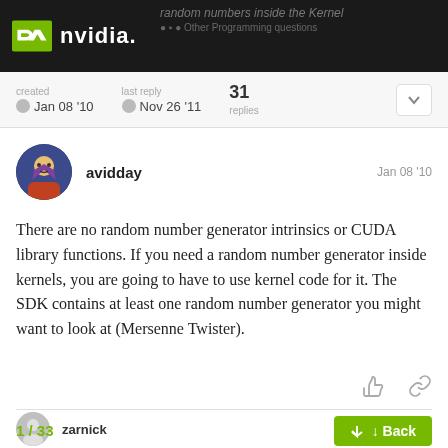NVIDIA — random numbers inside the Kernel
created Jan 08 '10   last reply Nov 26 '11   31 replies
avidday   Jan 08 '10
There are no random number generator intrinsics or CUDA library functions. If you need a random number generator inside kernels, you are going to have to use kernel code for it. The SDK contains at least one random number generator you might want to look at (Mersenne Twister).
zarnick   Jan 08 '10